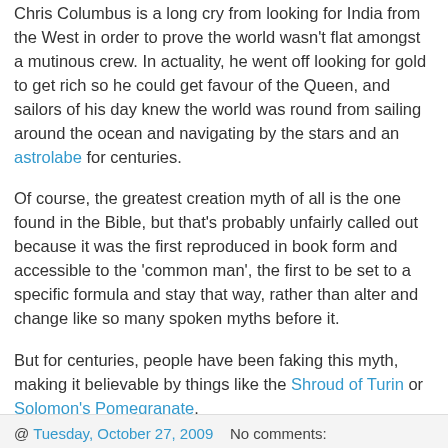Chris Columbus is a long cry from looking for India from the West in order to prove the world wasn't flat amongst a mutinous crew. In actuality, he went off looking for gold to get rich so he could get favour of the Queen, and sailors of his day knew the world was round from sailing around the ocean and navigating by the stars and an astrolabe for centuries.
Of course, the greatest creation myth of all is the one found in the Bible, but that's probably unfairly called out because it was the first reproduced in book form and accessible to the 'common man', the first to be set to a specific formula and stay that way, rather than alter and change like so many spoken myths before it.
But for centuries, people have been faking this myth, making it believable by things like the Shroud of Turin or Solomon's Pomegranate.
This is why the only truth is in archeology, the only science to believe is history.
@ Tuesday, October 27, 2009   No comments: